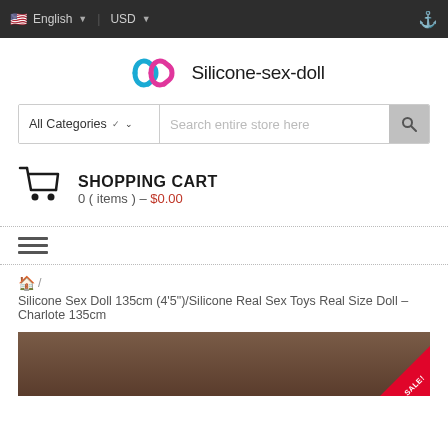English | USD
[Figure (logo): Silicone-sex-doll logo with two interlinked loops in blue and magenta]
All Categories | Search entire store here
SHOPPING CART
0 ( items ) – $0.00
Silicone Sex Doll 135cm (4'5")/Silicone Real Sex Toys Real Size Doll – Charlote 135cm
[Figure (photo): Partial product photo of a doll in a dark wood background with a SALE badge]